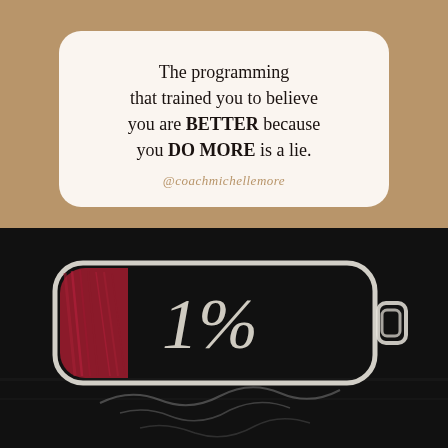The programming that trained you to believe you are BETTER because you DO MORE is a lie.
@coachmichellemore
[Figure (illustration): Chalk drawing on blackboard of a battery icon showing 1% charge remaining with a small red/crimson fill on the left side. The battery terminal nub is visible on the right. A faint chalk drawing appears below.]